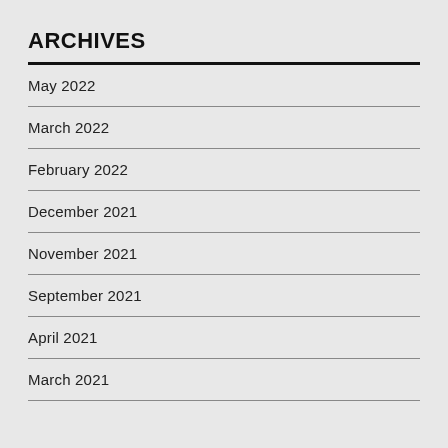ARCHIVES
May 2022
March 2022
February 2022
December 2021
November 2021
September 2021
April 2021
March 2021